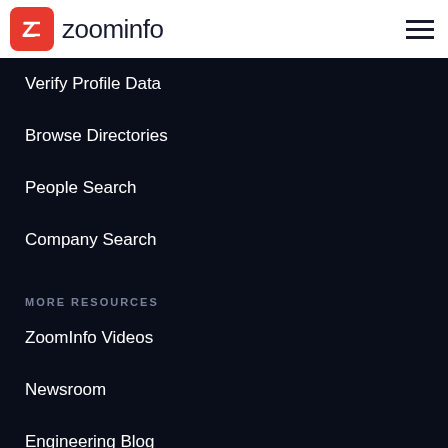zoominfo
Verify Profile Data
Browse Directories
People Search
Company Search
MORE RESOURCES
ZoomInfo Videos
Newsroom
Engineering Blog
COVID-19 Newsfeed
Recipes for Success